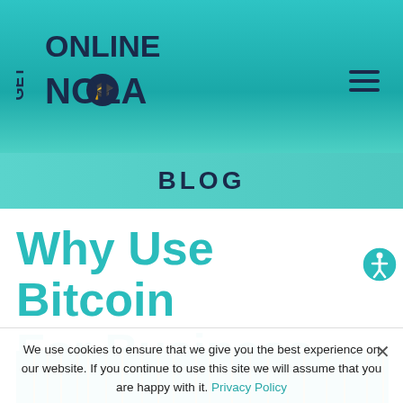[Figure (logo): Get Online NOLA logo with graduation cap in dark navy blue text on teal background]
BLOG
Why Use Bitcoin For Business
[Figure (illustration): Teal banner image with vertical gold/yellow lines pattern]
We use cookies to ensure that we give you the best experience on our website. If you continue to use this site we will assume that you are happy with it. Privacy Policy
OK
SHOULD YOU USE BITCOIN